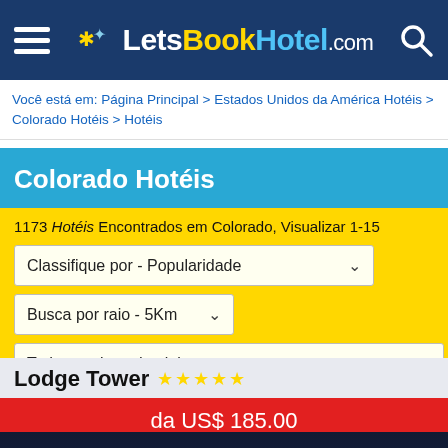LetsBookHotel.com
Você está em: Página Principal > Estados Unidos da América Hotéis > Colorado Hotéis > Hotéis
Colorado Hotéis
1173 Hotéis Encontrados em Colorado, Visualizar 1-15
Classifique por - Popularidade
Busca por raio - 5Km
Todos os tipos de alojamento
Lodge Tower ★★★★★
da US$ 185.00
[Figure (photo): Night-time photo of Lodge Tower hotel exterior with snow-covered rooftops and warm glowing lights at entrance archway]